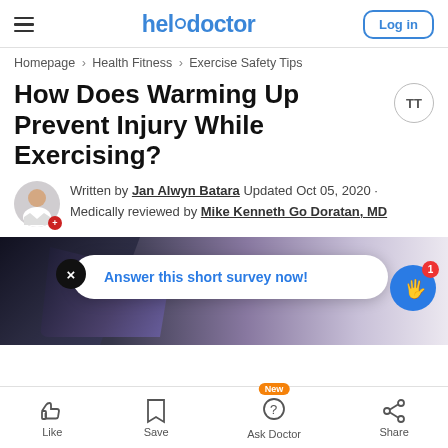helłodocтor · Log in
Homepage > Health Fitness > Exercise Safety Tips
How Does Warming Up Prevent Injury While Exercising?
Written by Jan Alwyn Batara Updated Oct 05, 2020 · Medically reviewed by Mike Kenneth Go Doratan, MD
[Figure (photo): Photo of person exercising with a survey popup overlay saying 'Answer this short survey now!']
Like · Save · Ask Doctor (New) · Share